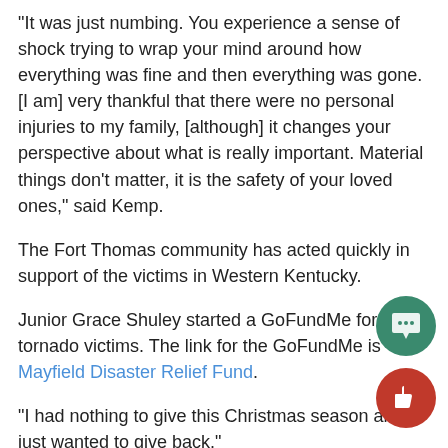“It was just numbing. You experience a sense of shock trying to wrap your mind around how everything was fine and then everything was gone. [I am] very thankful that there were no personal injuries to my family, [although] it changes your perspective about what is really important. Material things don’t matter, it is the safety of your loved ones,” said Kemp.
The Fort Thomas community has acted quickly in support of the victims in Western Kentucky.
Junior Grace Shuley started a GoFundMe for the tornado victims. The link for the GoFundMe is Mayfield Disaster Relief Fund.
“I had nothing to give this Christmas season and I just wanted to give back.”
The GoFundMe, in just a few days, has raised over $5,000.
Not only are individual HHS students helping, but the Fort Thomas Independent Schools District is directly helping relief efforts.
Highlands High School is asking for water or new winter coats